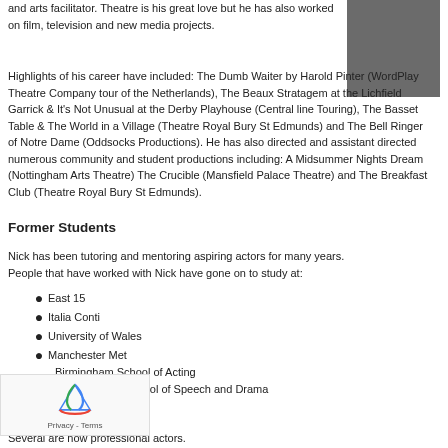and arts facilitator. Theatre is his great love but he has also worked on film, television and new media projects.
[Figure (photo): A grey/dark square placeholder image for a person's photo]
Highlights of his career have included: The Dumb Waiter by Harold Pinter (WordPlay Theatre Company tour of the Netherlands), The Beaux Stratagem at the Lichfield Garrick & It's Not Unusual at the Derby Playhouse (Central line Touring), The Basset Table & The World in a Village (Theatre Royal Bury St Edmunds) and The Bell Ringer of Notre Dame (Oddsocks Productions). He has also directed and assistant directed numerous community and student productions including: A Midsummer Nights Dream (Nottingham Arts Theatre) The Crucible (Mansfield Palace Theatre) and The Breakfast Club (Theatre Royal Bury St Edmunds).
Former Students
Nick has been tutoring and mentoring aspiring actors for many years. People that have worked with Nick have gone on to study at:
East 15
Italia Conti
University of Wales
Manchester Met
Birmingham School of Acting
Royal Central School of Speech and Drama
Rose Bruford
Several are now professional actors.